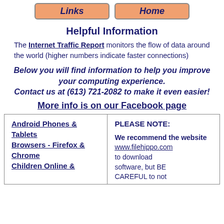[Figure (screenshot): Navigation buttons: Links and Home, orange rounded rectangle buttons]
Helpful Information
The Internet Traffic Report monitors the flow of data around the world (higher numbers indicate faster connections)
Below you will find information to help you improve your computing experience. Contact us at (613) 721-2082 to make it even easier!
More info is on our Facebook page
| Links column | Note column |
| --- | --- |
| Android Phones & Tablets
Browsers - Firefox & Chrome
Children Online & | PLEASE NOTE:
We recommend the website www.filehippo.com to download software, but BE CAREFUL to not |